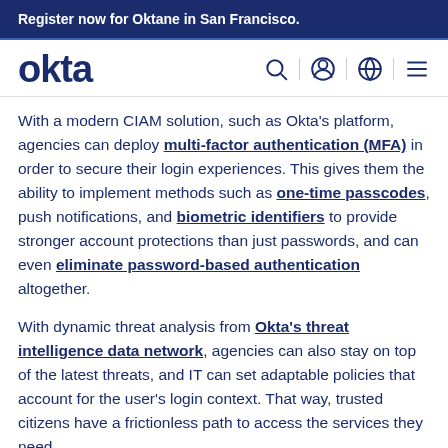Register now for Oktane in San Francisco.
[Figure (logo): Okta logo and navigation icons (search, user, globe, menu)]
With a modern CIAM solution, such as Okta’s platform, agencies can deploy multi-factor authentication (MFA) in order to secure their login experiences. This gives them the ability to implement methods such as one-time passcodes, push notifications, and biometric identifiers to provide stronger account protections than just passwords, and can even eliminate password-based authentication altogether.
With dynamic threat analysis from Okta’s threat intelligence data network, agencies can also stay on top of the latest threats, and IT can set adaptable policies that account for the user’s login context. That way, trusted citizens have a frictionless path to access the services they need.